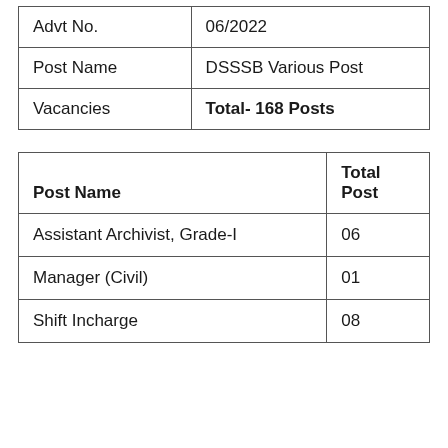|  |  |
| --- | --- |
| Advt No. | 06/2022 |
| Post Name | DSSSB Various Post |
| Vacancies | Total- 168 Posts |
| Post Name | Total Post |
| --- | --- |
| Assistant Archivist, Grade-I | 06 |
| Manager (Civil) | 01 |
| Shift Incharge | 08 |